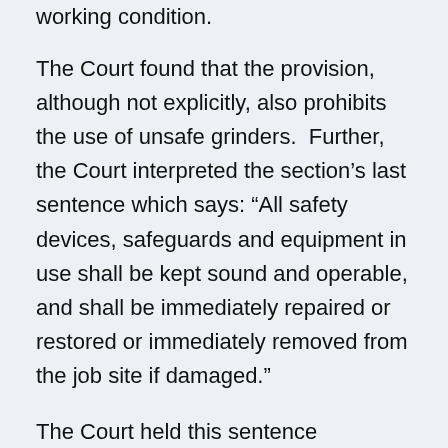equipment that is not in good repair and safe working condition.
The Court found that the provision, although not explicitly, also prohibits the use of unsafe grinders. Further, the Court interpreted the section’s last sentence which says: “All safety devices, safeguards and equipment in use shall be kept sound and operable, and shall be immediately repaired or restored or immediately removed from the job site if damaged.”
The Court held this sentence mandates a distinct standard of conduct. The section creates an affirmative duty instead of a general reiteration of common-law principles. This is precisely the type of